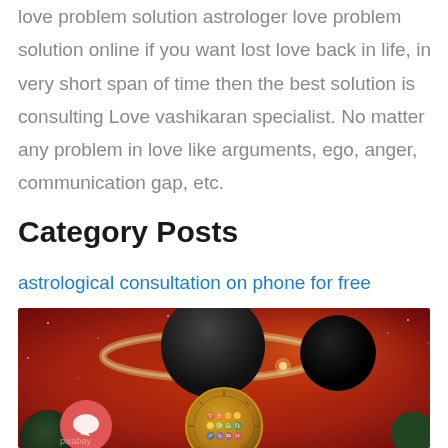love problem solution astrologer love problem solution online if you want lost love back in life, in very short span of time then the best solution is consulting Love vashikaran specialist. No matter any problem in love like arguments, ego, anger, communication gap, etc.
Category Posts
astrological consultation on phone for free
[Figure (photo): Astrological/space themed image showing planets with rings, fiery nebula in red and orange hues, and a zodiac wheel medallion in the foreground. A red chat button icon is overlaid on the lower left.]